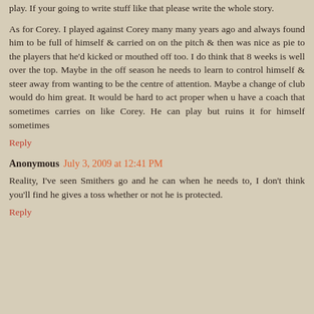play. If your going to write stuff like that please write the whole story.
As for Corey. I played against Corey many many years ago and always found him to be full of himself & carried on on the pitch & then was nice as pie to the players that he'd kicked or mouthed off too. I do think that 8 weeks is well over the top. Maybe in the off season he needs to learn to control himself & steer away from wanting to be the centre of attention. Maybe a change of club would do him great. It would be hard to act proper when u have a coach that sometimes carries on like Corey. He can play but ruins it for himself sometimes
Reply
Anonymous July 3, 2009 at 12:41 PM
Reality, I've seen Smithers go and he can when he needs to, I don't think you'll find he gives a toss whether or not he is protected.
Reply